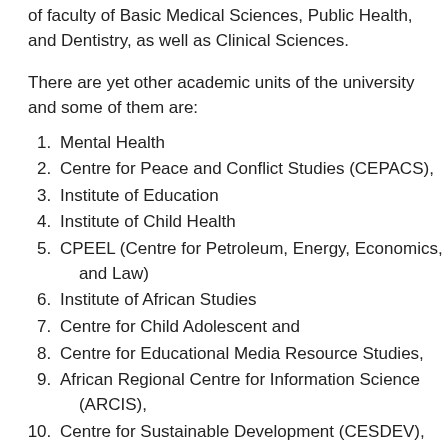of faculty of Basic Medical Sciences, Public Health, and Dentistry, as well as Clinical Sciences.
There are yet other academic units of the university and some of them are:
1. Mental Health
2. Centre for Peace and Conflict Studies (CEPACS),
3. Institute of Education
4. Institute of Child Health
5. CPEEL (Centre for Petroleum, Energy, Economics, and Law)
6. Institute of African Studies
7. Centre for Child Adolescent and
8. Centre for Educational Media Resource Studies,
9. African Regional Centre for Information Science (ARCIS),
10. Centre for Sustainable Development (CESDEV), and
11. Centre for Entrepreneurship and Innovation (CEI),
12. Institute for Advanced Medical Research and Training (IAMRAT),